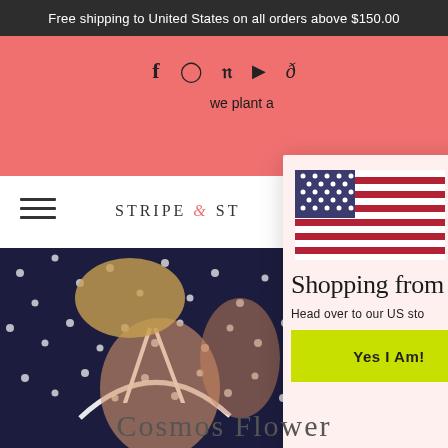Free shipping to United States on all orders above $150.00
f  ○  ℗  ▶  ♪  (social icons)
we plant a
STRIPE & ST
[Figure (photo): Woman wearing dark navy polka dot bikini top with white trim, cropped view]
[Figure (illustration): US flag illustration in modal dialog]
Shopping from
Head over to our US sto
Yes I Am!
Cosmos Flower